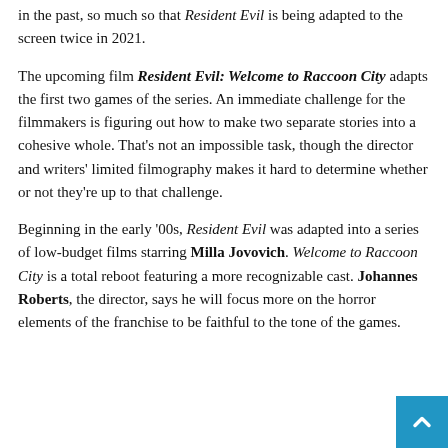in the past, so much so that Resident Evil is being adapted to the screen twice in 2021.
The upcoming film Resident Evil: Welcome to Raccoon City adapts the first two games of the series. An immediate challenge for the filmmakers is figuring out how to make two separate stories into a cohesive whole. That's not an impossible task, though the director and writers' limited filmography makes it hard to determine whether or not they're up to that challenge.
Beginning in the early '00s, Resident Evil was adapted into a series of low-budget films starring Milla Jovovich. Welcome to Raccoon City is a total reboot featuring a more recognizable cast. Johannes Roberts, the director, says he will focus more on the horror elements of the franchise to be faithful to the tone of the games.